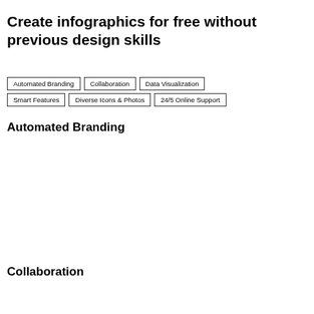Create infographics for free without previous design skills
Automated Branding
Collaboration
Data Visualization
Smart Features
Diverse Icons & Photos
24/5 Online Support
Automated Branding
Collaboration